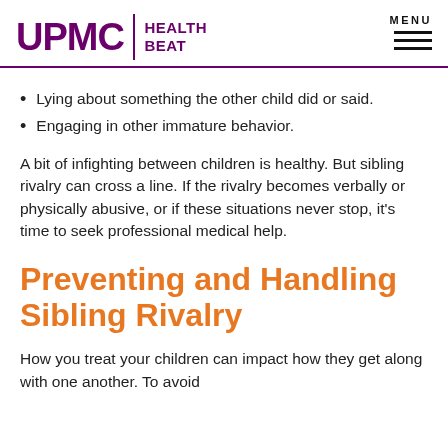UPMC HEALTH BEAT
Lying about something the other child did or said.
Engaging in other immature behavior.
A bit of infighting between children is healthy. But sibling rivalry can cross a line. If the rivalry becomes verbally or physically abusive, or if these situations never stop, it's time to seek professional medical help.
Preventing and Handling Sibling Rivalry
How you treat your children can impact how they get along with one another. To avoid